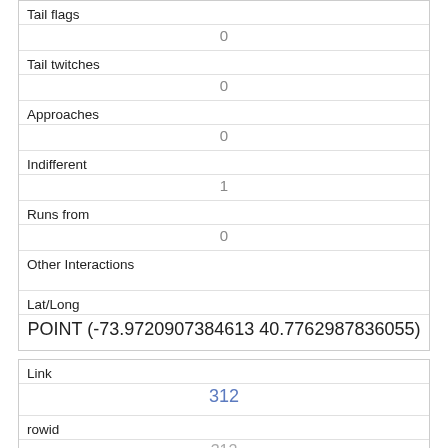| Tail flags | 0 |
| Tail twitches | 0 |
| Approaches | 0 |
| Indifferent | 1 |
| Runs from | 0 |
| Other Interactions |  |
| Lat/Long | POINT (-73.9720907384613 40.7762987836055) |
| Link | 312 |
| rowid | 312 |
| longitude |  |